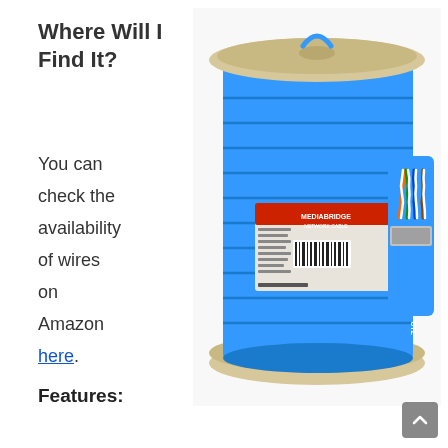Where Will I Find It?
You can check the availability of wires on Amazon here.
[Figure (photo): A large spool of blue Ethernet cable (Cat6/Cat7) with a product label showing barcode and brand 'Mediabridge', alongside a close-up of the cable end showing four twisted wire pairs inside a blue jacket.]
Features: